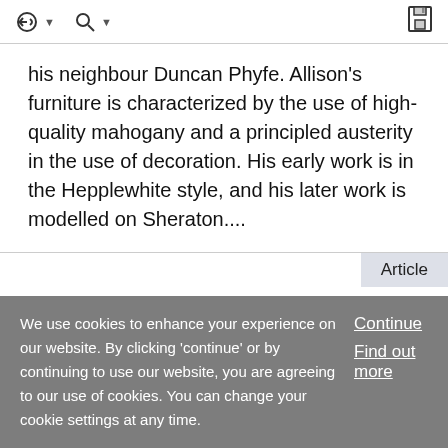Navigation and search toolbar with save icon
his neighbour Duncan Phyfe. Allison's furniture is characterized by the use of high-quality mahogany and a principled austerity in the use of decoration. His early work is in the Hepplewhite style, and his later work is modelled on Sheraton....
Article
Allwine, Lawrence 🔒
Gordon Campbell
We use cookies to enhance your experience on our website. By clicking 'continue' or by continuing to use our website, you are agreeing to our use of cookies. You can change your cookie settings at any time.